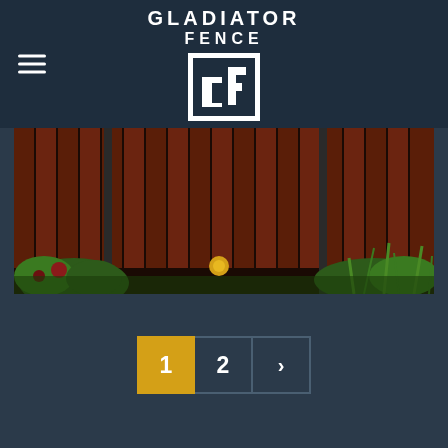[Figure (logo): Gladiator Fence logo with text 'GLADIATOR FENCE' above and a stylized GF block letter icon below, white on dark navy background]
[Figure (photo): Dark reddish-brown wooden fence with vertical planks, green plants and a yellow flower visible at the bottom]
[Figure (other): Pagination controls: active page 1 in gold/amber square, page 2 in outlined square, next arrow in outlined square]